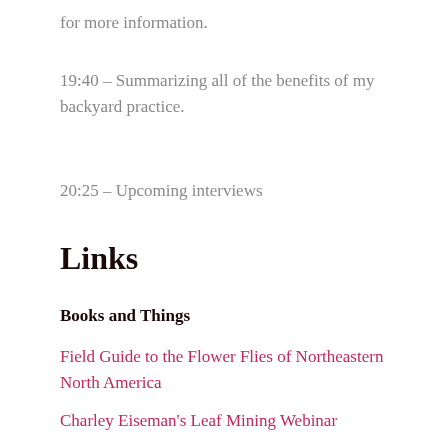for more information.
19:40 – Summarizing all of the benefits of my backyard practice.
20:25 – Upcoming interviews
Links
Books and Things
Field Guide to the Flower Flies of Northeastern North America
Charley Eiseman's Leaf Mining Webinar
Tracks and Signs of Insects and Other Invertebrates – a wonderful guide book to insect behavior.